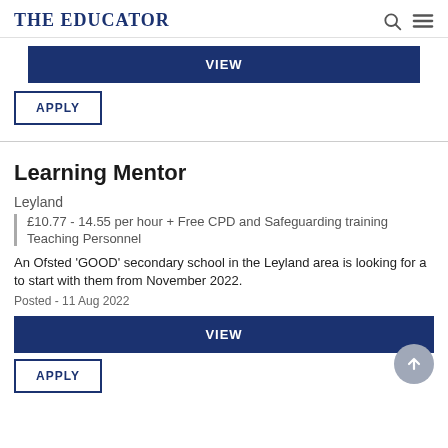THE EDUCATOR
VIEW
APPLY
Learning Mentor
Leyland
£10.77 - 14.55 per hour + Free CPD and Safeguarding training
Teaching Personnel
An Ofsted 'GOOD' secondary school in the Leyland area is looking for a to start with them from November 2022.
Posted - 11 Aug 2022
VIEW
APPLY